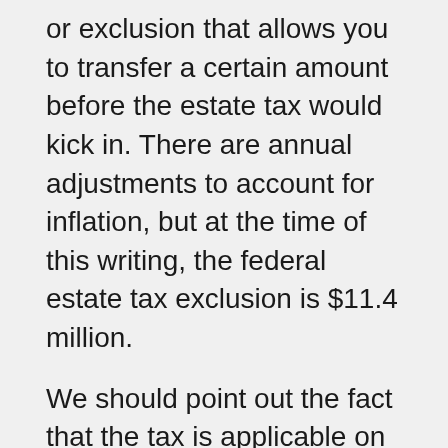or exclusion that allows you to transfer a certain amount before the estate tax would kick in. There are annual adjustments to account for inflation, but at the time of this writing, the federal estate tax exclusion is $11.4 million.
We should point out the fact that the tax is applicable on transfers to anyone, even close relatives, with one exception. There is a spousal estate tax exemption that allows for unlimited tax-free transfers between spouses. However, to take advantage of this exemption, the people in question must be American citizens.
As we all know, property is extremely valuable in some parts of our area. When you are calculating the value of your estate for tax purposes, you have